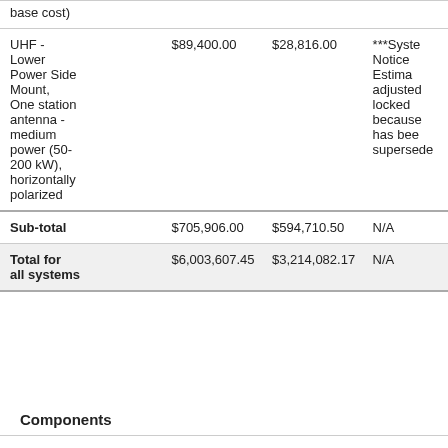|  |  |  |  |
| --- | --- | --- | --- |
| antenna base cost) |  |  |  |
| UHF - Lower Power Side Mount, One station antenna - medium power (50-200 kW), horizontally polarized | $89,400.00 | $28,816.00 | ***Syste Notice Estima adjusted locked because has bee supersede |
| Sub-total | $705,906.00 | $594,710.50 | N/A |
| Total for all systems | $6,003,607.45 | $3,214,082.17 | N/A |
Components